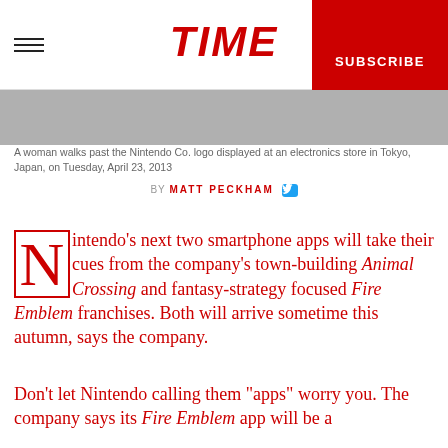TIME | SUBSCRIBE
[Figure (photo): A woman walks past the Nintendo Co. logo displayed at an electronics store in Tokyo, Japan]
A woman walks past the Nintendo Co. logo displayed at an electronics store in Tokyo, Japan, on Tuesday, April 23, 2013
BY MATT PECKHAM
Nintendo’s next two smartphone apps will take their cues from the company’s town-building Animal Crossing and fantasy-strategy focused Fire Emblem franchises. Both will arrive sometime this autumn, says the company.
Don’t let Nintendo calling them “apps” worry you. The company says its Fire Emblem app will be a